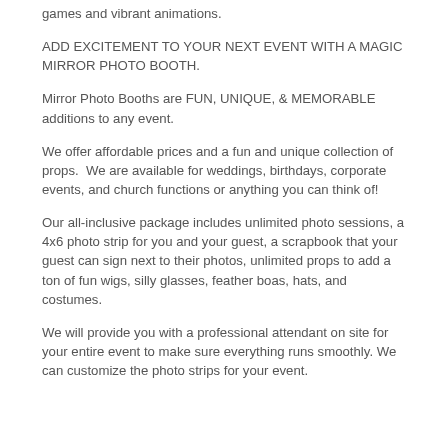games and vibrant animations.
ADD EXCITEMENT TO YOUR NEXT EVENT WITH A MAGIC MIRROR PHOTO BOOTH.
Mirror Photo Booths are FUN, UNIQUE, & MEMORABLE additions to any event.
We offer affordable prices and a fun and unique collection of props.  We are available for weddings, birthdays, corporate events, and church functions or anything you can think of!
Our all-inclusive package includes unlimited photo sessions, a 4x6 photo strip for you and your guest, a scrapbook that your guest can sign next to their photos, unlimited props to add a ton of fun wigs, silly glasses, feather boas, hats, and costumes.
We will provide you with a professional attendant on site for your entire event to make sure everything runs smoothly. We can customize the photo strips for your event.